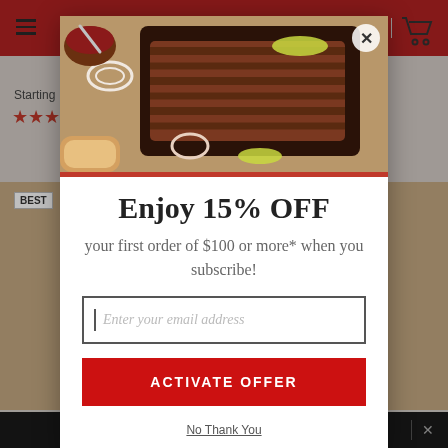[Figure (screenshot): Website background showing red header bar with hamburger menu and cart icon, 'Starting' text with red star ratings, 'BEST' seller badge, food product images, and dark bottom bar]
[Figure (photo): BBQ brisket sliced on cutting board with onions, peppers, sauce bowl — modal popup header image]
Enjoy 15% OFF
your first order of $100 or more* when you subscribe!
Enter your email address
ACTIVATE OFFER
No Thank You